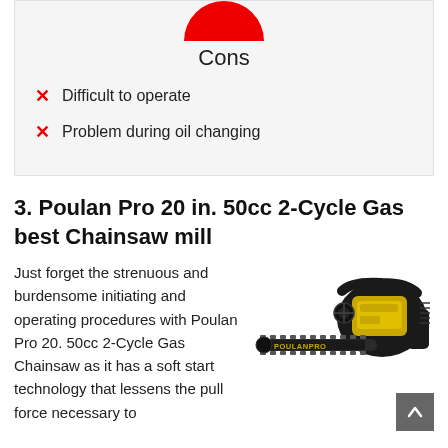[Figure (other): Partial red circle icon at top of Cons box]
Cons
Difficult to operate
Problem during oil changing
3. Poulan Pro 20 in. 50cc 2-Cycle Gas best Chainsaw mill
Just forget the strenuous and burdensome initiating and operating procedures with Poulan Pro 20. 50cc 2-Cycle Gas Chainsaw as it has a soft start technology that lessens the pull force necessary to
[Figure (photo): Photo of a Poulan Pro chainsaw with yellow and black body, PoulanPro branding on the bar]